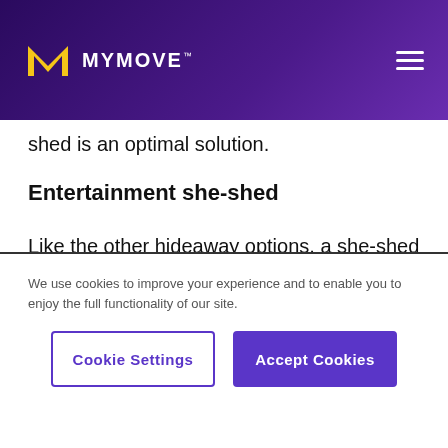MYMOVE
shed is an optimal solution.
Entertainment she-shed
Like the other hideaway options, a she-shed designed for entertainment can serve a few purposes. It can be your movie room and be designed similarly to a basement retreat. Fill it with comfy seating, surround sound, and a
We use cookies to improve your experience and to enable you to enjoy the full functionality of our site.